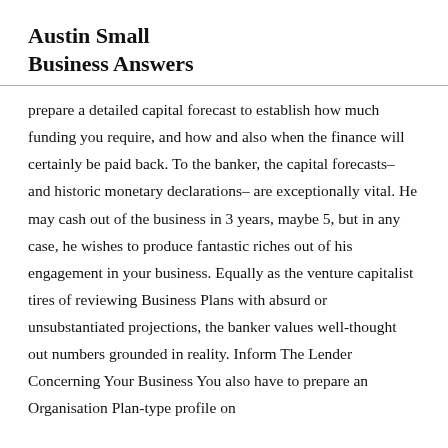Austin Small Business Answers
prepare a detailed capital forecast to establish how much funding you require, and how and also when the finance will certainly be paid back. To the banker, the capital forecasts– and historic monetary declarations– are exceptionally vital. He may cash out of the business in 3 years, maybe 5, but in any case, he wishes to produce fantastic riches out of his engagement in your business. Equally as the venture capitalist tires of reviewing Business Plans with absurd or unsubstantiated projections, the banker values well-thought out numbers grounded in reality. Inform The Lender Concerning Your Business You also have to prepare an Organisation Plan-type profile on